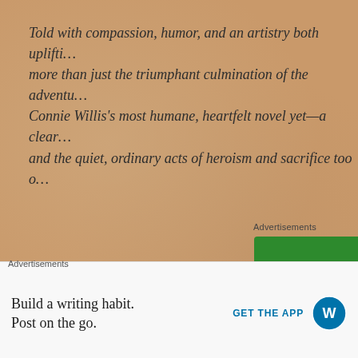Told with compassion, humor, and an artistry both uplifti... more than just the triumphant culmination of the adventu... Connie Willis's most humane, heartfelt novel yet—a clear... and the quiet, ordinary acts of heroism and sacrifice too o...
Advertisements
[Figure (screenshot): Jetpack advertisement banner: green background with Jetpack logo (lightning bolt icon), headline 'The best real-time WordPress backup plugin', and a white 'Back up your site' button]
Advertisements
[Figure (screenshot): WordPress app advertisement: white bar with text 'Build a writing habit. Post on the go.' and 'GET THE APP' button with WordPress logo]